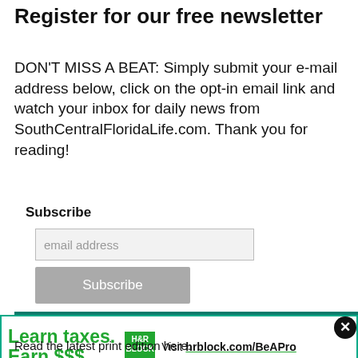Register for our free newsletter
DON'T MISS A BEAT: Simply submit your e-mail address below, click on the opt-in email link and watch your inbox for daily news from SouthCentralFloridaLife.com. Thank you for reading!
Subscribe
email address
Subscribe
[Figure (screenshot): READ LAKE OKEECHOBEE NEWS green banner header]
[Figure (infographic): H&R Block advertisement: Learn taxes. Earn $$$. Visit hrblock.com/BeAPro with green H&R Block logo and close button]
Read the latest print edition here.